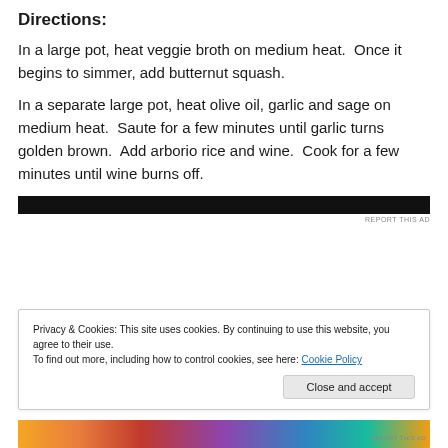Directions:
In a large pot, heat veggie broth on medium heat.  Once it begins to simmer, add butternut squash.
In a separate large pot, heat olive oil, garlic and sage on medium heat.  Saute for a few minutes until garlic turns golden brown.  Add arborio rice and wine.  Cook for a few minutes until wine burns off.
[Figure (other): Dark advertisement banner bar]
Privacy & Cookies: This site uses cookies. By continuing to use this website, you agree to their use.
To find out more, including how to control cookies, see here: Cookie Policy
Close and accept